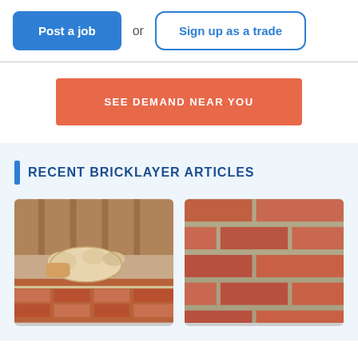Post a job or Sign up as a trade
SEE DEMAND NEAR YOU
RECENT BRICKLAYER ARTICLES
[Figure (photo): Gloved hand laying bricks with mortar on a construction site]
[Figure (photo): Close-up of red brick wall with mortar joints]